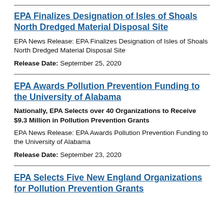EPA Finalizes Designation of Isles of Shoals North Dredged Material Disposal Site
EPA News Release: EPA Finalizes Designation of Isles of Shoals North Dredged Material Disposal Site
Release Date: September 25, 2020
EPA Awards Pollution Prevention Funding to the University of Alabama
Nationally, EPA Selects over 40 Organizations to Receive $9.3 Million in Pollution Prevention Grants
EPA News Release: EPA Awards Pollution Prevention Funding to the University of Alabama
Release Date: September 23, 2020
EPA Selects Five New England Organizations for Pollution Prevention Grants